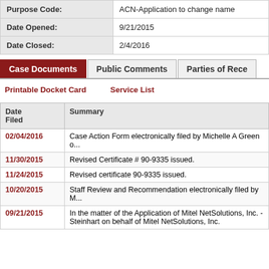| Label | Value |
| --- | --- |
| Purpose Code: | ACN-Application to change name |
| Date Opened: | 9/21/2015 |
| Date Closed: | 2/4/2016 |
Case Documents | Public Comments | Parties of Reco...
Printable Docket Card    Service List
| Date Filed | Summary |
| --- | --- |
| 02/04/2016 | Case Action Form electronically filed by Michelle A Green o... |
| 11/30/2015 | Revised Certificate # 90-9335 issued. |
| 11/24/2015 | Revised certificate 90-9335 issued. |
| 10/20/2015 | Staff Review and Recommendation electronically filed by M... |
| 09/21/2015 | In the matter of the Application of Mitel NetSolutions, Inc. - Steinhart on behalf of Mitel NetSolutions, Inc. |